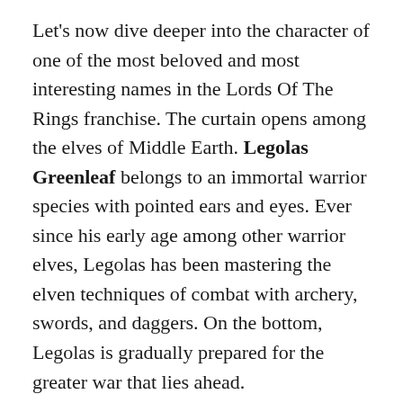Let's now dive deeper into the character of one of the most beloved and most interesting names in the Lords Of The Rings franchise. The curtain opens among the elves of Middle Earth. Legolas Greenleaf belongs to an immortal warrior species with pointed ears and eyes. Ever since his early age among other warrior elves, Legolas has been mastering the elven techniques of combat with archery, swords, and daggers. On the bottom, Legolas is gradually prepared for the greater war that lies ahead.
With his extensive battlefield training and combat skills, Legolas soon joined the forces along with Frodo Baggins and other companions. At one point, Legolas offered his